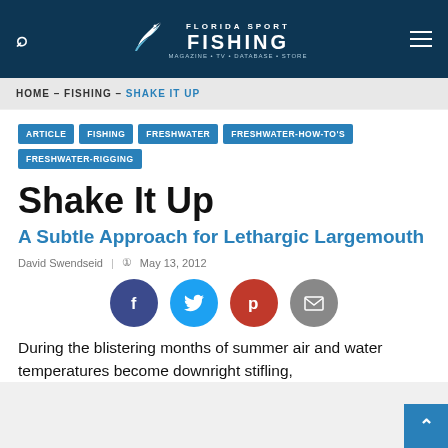Florida Sport Fishing - Magazine, TV, Database & Store
HOME - FISHING - SHAKE IT UP
ARTICLE
FISHING
FRESHWATER
FRESHWATER-HOW-TO'S
FRESHWATER-RIGGING
Shake It Up
A Subtle Approach for Lethargic Largemouth
David Swendseid | May 13, 2012
[Figure (infographic): Social sharing icons: Facebook (dark blue circle with f), Twitter (cyan circle with bird), Pinterest (red circle with p), Email (gray circle with envelope)]
During the blistering months of summer air and water temperatures become downright stifling,